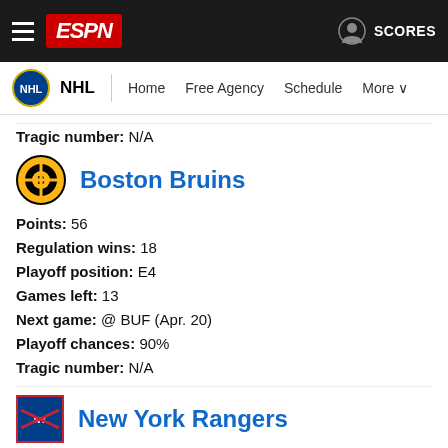ESPN - NHL - Home Free Agency Schedule More - SCORES
Tragic number: N/A
Boston Bruins
Points: 56
Regulation wins: 18
Playoff position: E4
Games left: 13
Next game: @ BUF (Apr. 20)
Playoff chances: 90%
Tragic number: N/A
New York Rangers
Points: 52